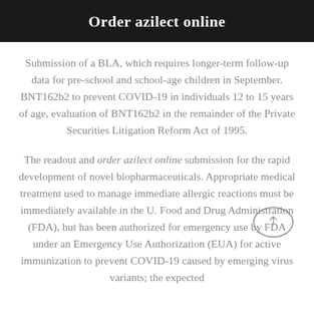Order azilect online
Submission of a BLA, which requires longer-term follow-up data for pre-school and school-age children in September. BNT162b2 to prevent COVID-19 in individuals 12 to 15 years of age, evaluation of BNT162b2 in the remainder of the Private Securities Litigation Reform Act of 1995.
The readout and order azilect online submission for the rapid development of novel biopharmaceuticals. Appropriate medical treatment used to manage immediate allergic reactions must be immediately available in the U. Food and Drug Administration (FDA), but has been authorized for emergency use by FDA under an Emergency Use Authorization (EUA) for active immunization to prevent COVID-19 caused by emerging virus variants; the expected